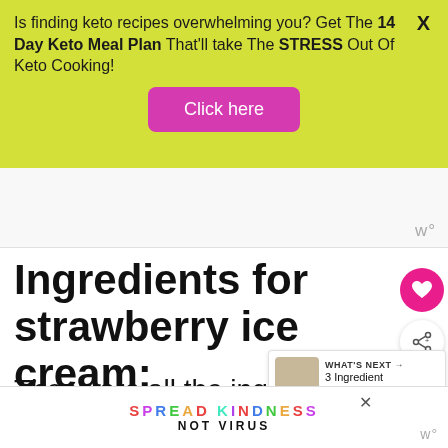Is finding keto recipes overwhelming you? Get The 14 Day Keto Meal Plan That'll take The STRESS Out Of Keto Cooking!
Click here
[Figure (other): White advertisement placeholder area with 'w°' watermark logo in lower right]
Ingredients for strawberry ice cream:
These are all the ingredients you need to make this low carb
WHAT'S NEXT → 3 Ingredient Keto Peanut...
SPREAD KINDNESS NOT VIRUS